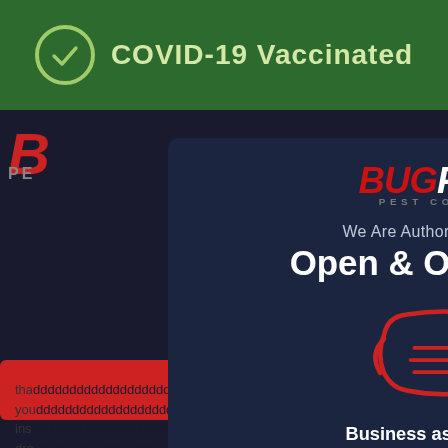[Figure (screenshot): Green banner at top with checkmark circle and text 'COVID-19 Vaccinated']
[Figure (screenshot): BugFree Pest Control modal popup overlay on a dark website background. Contains: BugFree logo, 'We Are Authorised Workers', 'Open & Operating!', face mask icon, 'Business as per usual!', contact info (1300 855 548, info@bugfree.com.au), and a red Close button.]
that ... if you ... inst ... rat dro ... roa... should give us a call. When you call us for pest control Harris Park without delay, it becomes easier to rid your property of the pests.